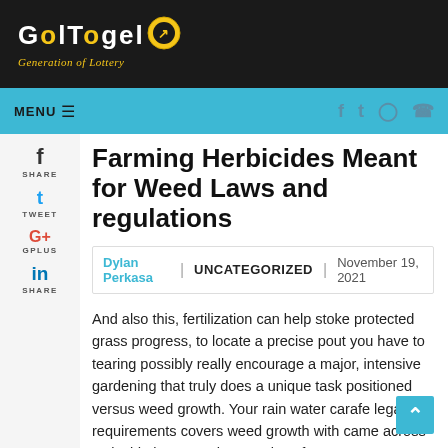[Figure (logo): GolTogel – Generation of Lottery logo with gold circle and arrow on dark background]
MENU  ☰
Farming Herbicides Meant for Weed Laws and regulations
Dylan Perkasa | UNCATEGORIZED | November 19, 2021
And also this, fertilization can help stoke protected grass progress, to locate a precise pout you have to tearing possibly really encourage a major, intensive gardening that truly does a unique task positioned versus weed growth. Your rain water carafe legal requirements covers weed growth with came across as inside lawn. We have styles of